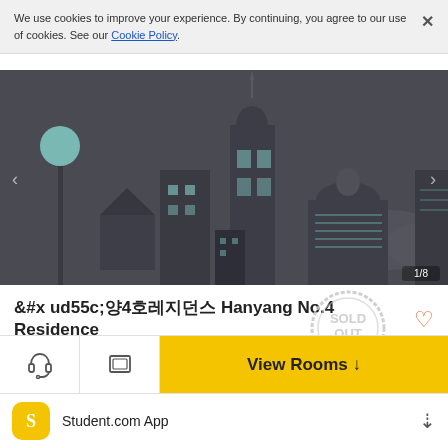We use cookies to improve your experience. By continuing, you agree to our use of cookies. See our Cookie Policy.
[Figure (illustration): Illustrated cityscape with buildings, a tower with globe, and a dome-shaped structure on a dark grey background. Navigation counter '1/8' shown at bottom right.]
한양4호레지던스 Hanyang No.4 Residence
₩436,800 /month
[Figure (other): Circular 'SOLD OUT' stamp watermark in grey]
It is ... on floor ... It is fully furnished...
View Rooms ↓
Student.com App